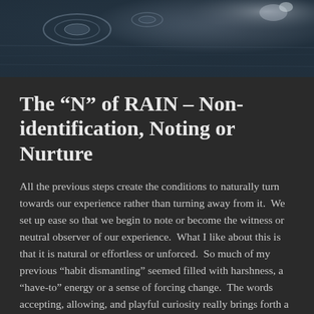[Figure (photo): Dark blue-grey rainy water surface photo used as decorative header background]
The “N” of RAIN – Non-identification, Noting or Nurture
All the previous steps create the conditions to naturally turn towards our experience rather than turning away from it.  We set up ease so that we begin to note or become the witness or neutral observer of our experience.  What I like about this is that it is natural or effortless or unforced.  So much of my previous “habit dismantling” seemed filled with harshness, a “have-to” energy or a sense of forcing change.  The words accepting, allowing, and playful curiosity really brings forth a spirit of letting experience just be our experience.  This spirit is the underpinning for non-identification.  These sensations, emotions and thoughts